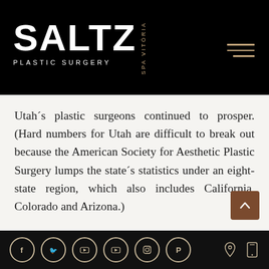[Figure (logo): Saltz Plastic Surgery Spa Vitória logo on black background with hamburger menu icon]
Utah´s plastic surgeons continued to prosper. (Hard numbers for Utah are difficult to break out because the American Society for Aesthetic Plastic Surgery lumps the state´s statistics under an eight-state region, which also includes California, Colorado and Arizona.)
[Figure (other): Footer with social media icons (Facebook, Twitter, YouTube, YouTube, Instagram, Pinterest) and location/mobile icons on dark background]